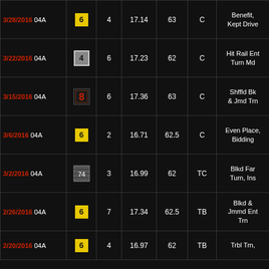| Date | Badge | Num1 | Num2 | Num3 | Letter | Note |
| --- | --- | --- | --- | --- | --- | --- |
| 3/28/2016 04A | 6 | 4 | 17.14 | 63 | C | Benefit, Kept Drive |
| 3/22/2016 04A | 4 | 6 | 17.23 | 62 | C | Hit Rail Ent Turn Md |
| 3/15/2016 04A | 8(fire) | 6 | 17.36 | 63 | C | Shffld Bk & Jmd Trn |
| 3/6/2016 04A | 6 | 2 | 16.71 | 62.5 | C | Even Place, Bidding |
| 3/2/2016 04A | stripes | 3 | 16.99 | 62 | TC | Blkd Far Turn, Ins |
| 2/26/2016 04A | 6 | 7 | 17.34 | 62.5 | TB | Blkd & Jmmd Ent Trn |
| 2/20/2016 04A | 6 | 4 | 16.97 | 62 | TB | Trbl Trn, |